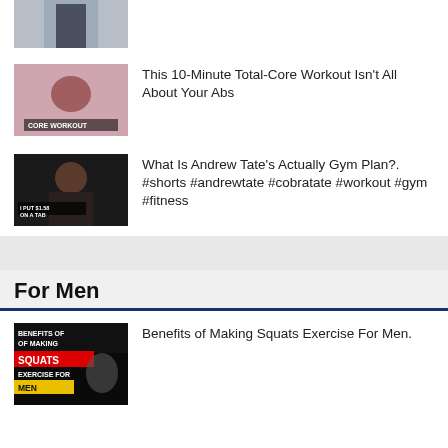[Figure (photo): Partial thumbnail of a person in a dark shirt, cropped at top]
[Figure (photo): Thumbnail showing a woman in red outfit doing a core/plank workout with text overlay 'CORE WORKOUT']
This 10-Minute Total-Core Workout Isn't All About Your Abs
[Figure (photo): Thumbnail of a man (Andrew Tate style) in a dark outfit with text overlay 'I PUT $1.58 ON A TAB']
What Is Andrew Tate's Actually Gym Plan?. #shorts #andrewtate #cobratate #workout #gym #fitness
For Men
[Figure (photo): Thumbnail with black background showing 'BENEFITS OF OF MAKING SQUATS EXERCISE FOR MEN' text with a person doing squat exercise]
Benefits of Making Squats Exercise For Men.